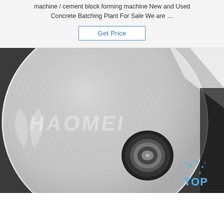machine / cement block forming machine New and Used Concrete Batching Plant For Sale We are …
Get Price
[Figure (photo): A large aluminum coil roll with a shiny metallic surface and a center hole, photographed from above/front. A watermark reading 'HAOMEI' and a 'TOP' logo with blue dots are visible on the image.]